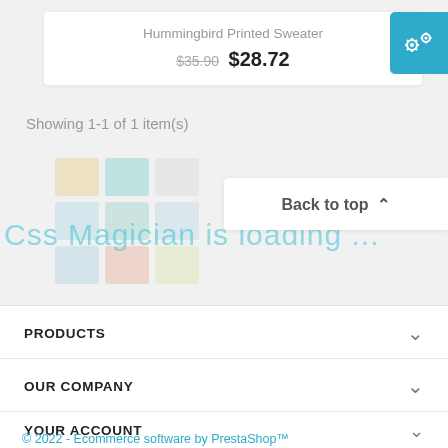Hummingbird Printed Sweater
$35.90 $28.72
Showing 1-1 of 1 item(s)
[Figure (screenshot): Css Magician is loading ... watermark with colored tile grid overlay]
Back to top ∧
PRODUCTS
OUR COMPANY
YOUR ACCOUNT
© 2022 - Ecommerce software by PrestaShop™